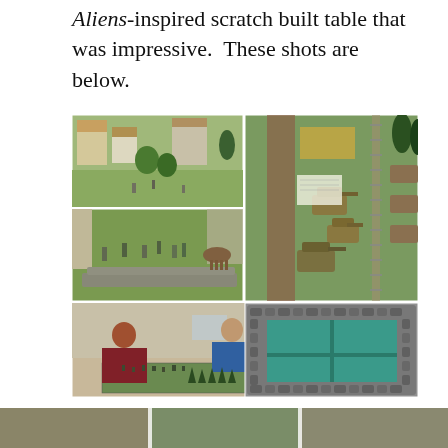Aliens-inspired scratch built table that was impressive.  These shots are below.
[Figure (photo): A collage of five photos showing wargaming tabletop miniature scenes: top-left shows a village green with miniature buildings and hedges; middle-left shows soldiers in a field with stone walls; right (spanning top two rows) shows tanks and armored vehicles on a green mat with railway tracks and trees; bottom-left shows three people setting up a miniature wargaming table; bottom-right shows a scratch-built fortified structure with teal/turquoise walls and rock decorations.]
[Figure (photo): Partial view of another miniature gaming table visible at the bottom edge of the page.]